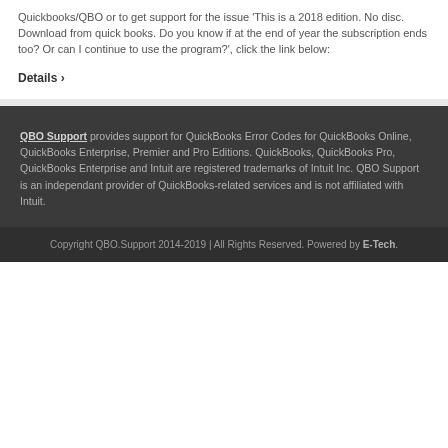Quickbooks/QBO or to get support for the issue 'This is a 2018 edition. No disc. Download from quick books. Do you know if at the end of year the subscription ends too? Or can I continue to use the program?', click the link below:
Details >
QBO Support provides support for QuickBooks Error Codes for QuickBooks Online, QuickBooks Enterprise, Premier and Pro Editions. QuickBooks, QuickBooks Pro, QuickBooks Enterprise and Intuit are registered trademarks of Intuit Inc. QBO Support is an independant provider of QuickBooks-related services and is not affiliated with Intuit.
Copyright QBO.Support 2014-2019 | All Rights Reserved. Powered by E-Tech.